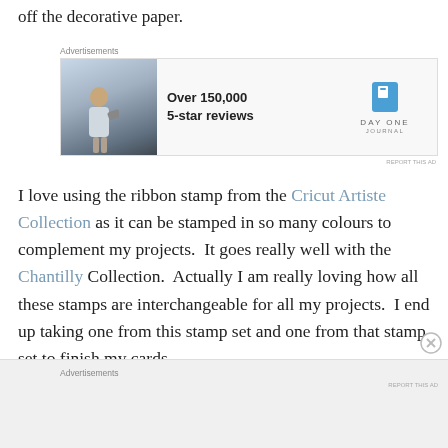off the decorative paper.
[Figure (infographic): Advertisement banner with photo of person outdoors, text 'Over 150,000 5-star reviews', and DayOne Journal logo]
I love using the ribbon stamp from the Cricut Artiste Collection as it can be stamped in so many colours to complement my projects.  It goes really well with the Chantilly Collection.  Actually I am really loving how all these stamps are interchangeable for all my projects.  I end up taking one from this stamp set and one from that stamp set to finish my cards.
[Figure (infographic): Advertisement banner at bottom of page with gray background]